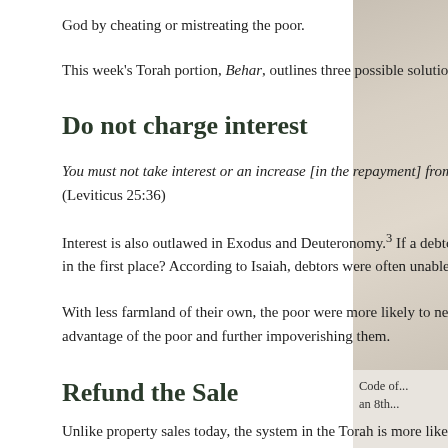God by cheating or mistreating the poor.
This week's Torah portion, Behar, outlines three possible solutions to the problem of social injustice due to concentrated wealth.
Do not charge interest
You must not take interest or an increase [in the repayment] from him; you shall fear your God, and let your brother live along with you. (Leviticus 25:36)
Interest is also outlawed in Exodus and Deuteronomy.3 If a debtor did not need to would be somewhat easier to repay. But then what motivation would a selfish ric loan in the first place? According to Isaiah, debtors were often unable to repay a so they had to turn over some or all of their land. The rich got richer by accumula
With less farmland of their own, the poor were more likely to need another loan t prohibiting creditors from charging interest was not enough to solve the problem advantage of the poor and further impoverishing them.
Refund the Sale
Unlike property sales today, the system in the Torah is more like a lease. The bi
[Figure (photo): Sidebar image showing a blurred interior scene, possibly a room or hallway, in muted beige/gray tones. Caption reads: Code of ... an 8th...]